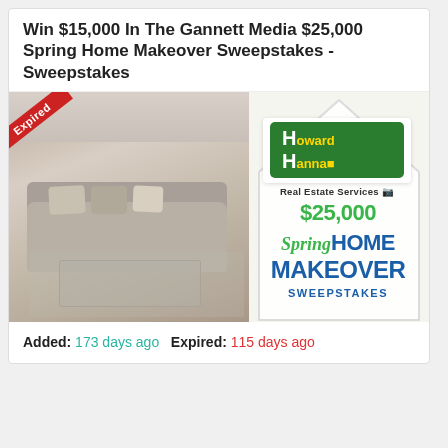Win $15,000 In The Gannett Media $25,000 Spring Home Makeover Sweepstakes - Sweepstakes
[Figure (photo): Promotional sweepstakes image showing a modern living room on the left and a Howard Hanna Real Estate Services $25,000 Spring HOME MAKEOVER SWEEPSTAKES advertisement on the right with an 'Expired' ribbon overlay.]
Added: 173 days ago   Expired: 115 days ago